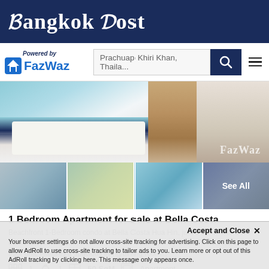Bangkok Post
[Figure (logo): FazWaz logo with 'Powered by' text and search bar with 'Prachuap Khiri Khan, Thaila...' placeholder, search button and menu button]
[Figure (photo): Main photo of a bedroom apartment interior with blue and white bedding, and a second photo showing wood flooring, with FazWaz watermark]
[Figure (photo): Four thumbnail photos of apartment interiors: living room, another living room, blue-themed interior, and a dark partially visible room with 'See All' overlay]
1 Bedroom Apartment for sale at Bella Costa
Beachfront 1-Bedroom condo at Bella Costa Hua Hin, just a 15-minute drive from Hua Hin city with 2 km to Hua Hin Soul Country Club. The condo, a 2nd floor unit, features a spacious living/dining room...
1  1  50 SqM  Apartment
Thai Quota
Year Built 2016
Park View
Garden View
Balcony
Accept and Close ✕
Your browser settings do not allow cross-site tracking for advertising. Click on this page to allow AdRoll to use cross-site tracking to tailor ads to you. Learn more or opt out of this AdRoll tracking by clicking here. This message only appears once.